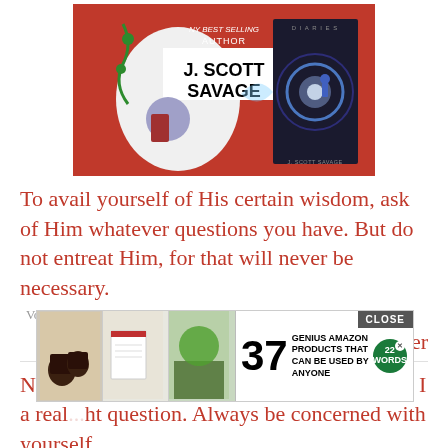[Figure (illustration): Book cover image for J. Scott Savage showing fantasy illustration with red background and author name]
To avail yourself of His certain wisdom, ask of Him whatever questions you have. But do not entreat Him, for that will never be necessary.
Votes: 0
Hugh Prather
Never tell him when a friend [Sir]...Am I a real...ht question. Always be concerned with yourself.
Votes: 0
[Figure (screenshot): Advertisement overlay: 37 Genius Amazon Products That Can Be Used By Anyone, with close button and 22 Words logo]